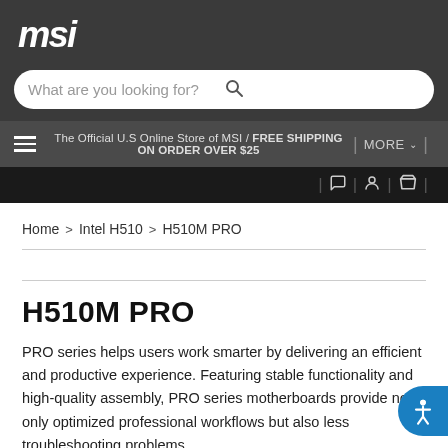[Figure (logo): MSI brand logo in white italic text on dark grey background]
What are you looking for?
The Official U.S Online Store of MSI / FREE SHIPPING ON ORDER OVER $25
MORE
Home > Intel H510 > H510M PRO
H510M PRO
PRO series helps users work smarter by delivering an efficient and productive experience. Featuring stable functionality and high-quality assembly, PRO series motherboards provide not only optimized professional workflows but also less troubleshooting problems.